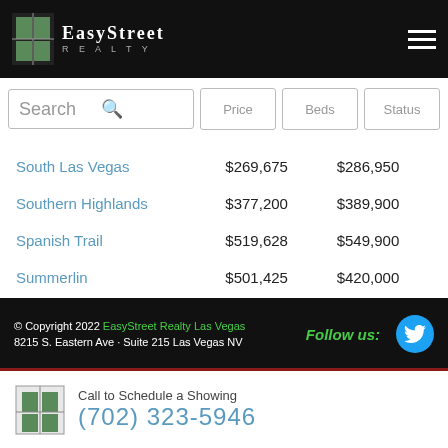[Figure (logo): EasyStreet Realty logo with window icon on black header bar]
[Figure (screenshot): Search bar with Price, Beds, Status filter buttons]
| Location | Price 1 | Price 2 |
| --- | --- | --- |
| South Las Vegas | $269,675 | $286,950 |
| Southern Highlands | $377,200 | $389,900 |
| Spanish Trail | $519,628 | $549,900 |
| Summerlin | $501,425 | $420,000 |
| The Lakes | $344,646 | $249,500 |
| West Las Vegas | $630,464 | $562,998 |
© Copyright 2022 EasyStreet Realty Las Vegas
8215 S. Eastern Ave · Suite 215 Las Vegas NV
Follow us:
Call to Schedule a Showing
(702) 323-5946